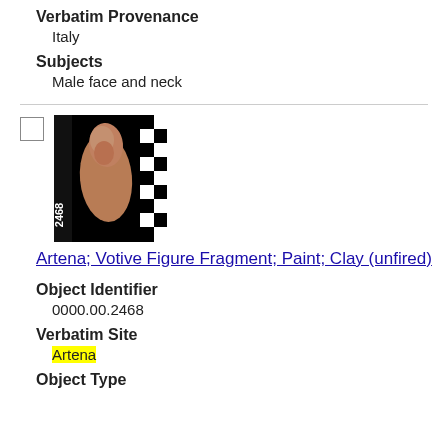Verbatim Provenance
Italy
Subjects
Male face and neck
[Figure (photo): Photograph of artifact 2468, a votive figure fragment made of clay (unfired), shown against black background with a checkered scale ruler. Object number '2468' visible on left side.]
Artena; Votive Figure Fragment; Paint; Clay (unfired)
Object Identifier
0000.00.2468
Verbatim Site
Artena
Object Type